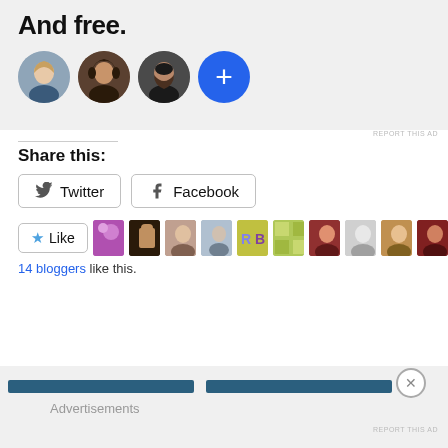[Figure (screenshot): Ad banner with text 'And free.' and four circular avatar photos, the last being a blue circle with a plus sign]
REPORT THIS AD
Share this:
[Figure (screenshot): Twitter share button with bird icon]
[Figure (screenshot): Facebook share button with f icon]
[Figure (screenshot): Like button with star icon and a row of 9 blogger avatar thumbnails]
14 bloggers like this.
[Figure (screenshot): Bottom advertisements bar with two blue horizontal bars and a close X button, with 'Advertisements' label]
REPORT THIS AD